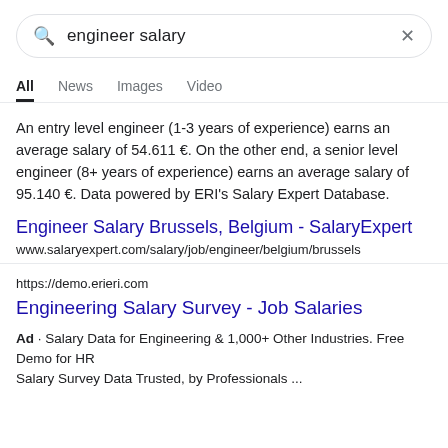[Figure (screenshot): Google search bar with query 'engineer salary' and X clear button]
All  News  Images  Video
An entry level engineer (1-3 years of experience) earns an average salary of 54.611 €. On the other end, a senior level engineer (8+ years of experience) earns an average salary of 95.140 €. Data powered by ERI's Salary Expert Database.
Engineer Salary Brussels, Belgium - SalaryExpert
www.salaryexpert.com/salary/job/engineer/belgium/brussels
https://demo.erieri.com
Engineering Salary Survey - Job Salaries
Ad · Salary Data for Engineering & 1,000+ Other Industries. Free Demo for HR
Salary Survey Data Trusted, by Professionals ...